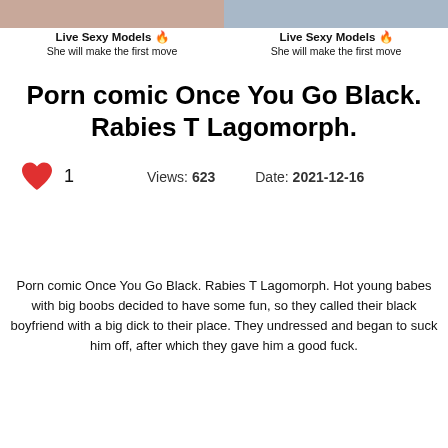[Figure (photo): Two cropped photos side by side at top of page]
Live Sexy Models 🔥
She will make the first move
Live Sexy Models 🔥
She will make the first move
Porn comic Once You Go Black. Rabies T Lagomorph.
1   Views: 623   Date: 2021-12-16
Porn comic Once You Go Black. Rabies T Lagomorph. Hot young babes with big boobs decided to have some fun, so they called their black boyfriend with a big dick to their place. They undressed and began to suck him off, after which they gave him a good fuck.